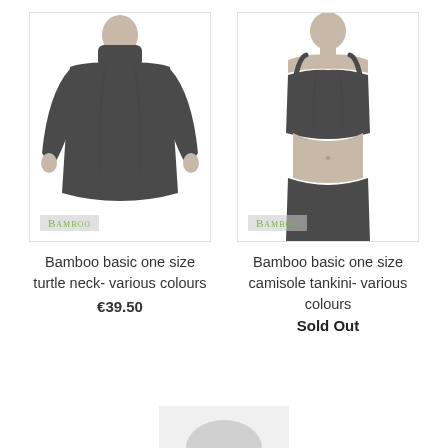[Figure (photo): Product photo of a dark grey bamboo turtleneck long-sleeve top worn by a model, with 'BAMBOO' watermark label at bottom left]
[Figure (photo): Product photo of a dark grey bamboo camisole/tankini crop top with thin straps worn by a model, with 'BAMBOO' watermark label at bottom left]
Bamboo basic one size turtle neck- various colours
€39.50
Bamboo basic one size camisole tankini- various colours
Sold Out
[Figure (photo): Partially visible product photo at bottom of page, appears to be another bamboo clothing item]